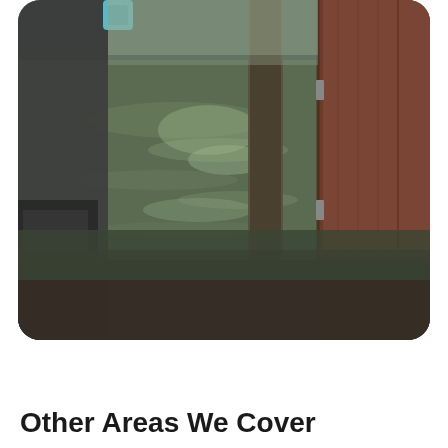[Figure (photo): A flooded interior room showing dark murky water covering the floor, with a wooden door/wall visible on the right side and furniture partially submerged on the left. The water reflects light from above.]
Other Areas We Cover